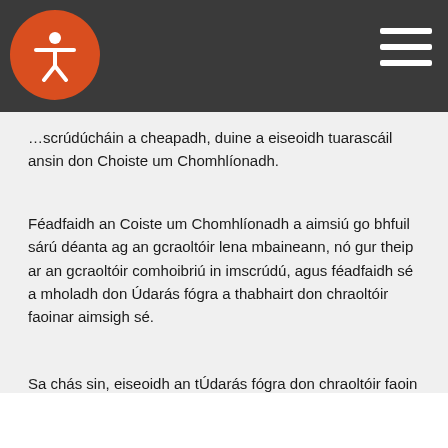…scrúdúcháin a cheapadh, duine a eiseoidh tuarascáil ansin don Choiste um Chomhlíonadh.
Féadfaidh an Coiste um Chomhlíonadh a aimsiú go bhfuil sárú déanta ag an gcraoltóir lena mbaineann, nó gur theip ar an gcraoltóir comhoibriú in imscrúdú, agus féadfaidh sé a mholadh don Údarás fógra a thabhairt don chraoltóir faoinar aimsigh sé.
Sa chás sin, eiseoidh an tÚdarás fógra don chraoltóir faoin gcinneadh ón gCoiste um Chomhlíonadh agus, mar thoradh ar an bpróiseas, féadfar smachtbhanna airgeadais (nach mó ná €250,000) a fhorchur ar deireadh.